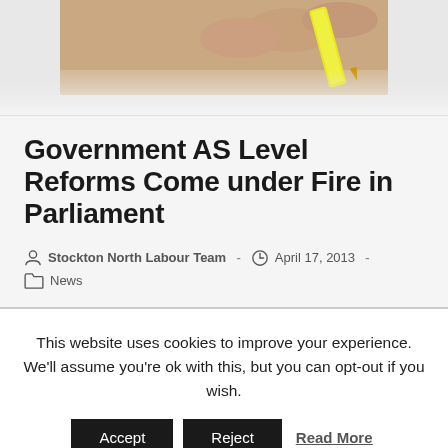[Figure (photo): Partial image of a hand holding a yellow highlighter pen, cropped at top of page]
Government AS Level Reforms Come under Fire in Parliament
Stockton North Labour Team · April 17, 2013 · News
This website uses cookies to improve your experience. We'll assume you're ok with this, but you can opt-out if you wish. Accept  Reject  Read More